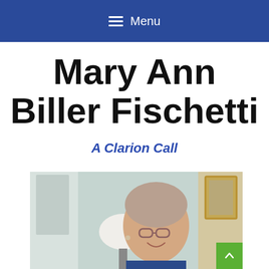Menu
Mary Ann Biller Fischetti
A Clarion Call
[Figure (photo): Elderly woman with short gray hair and glasses, smiling, photographed indoors near a lamp and framed artwork]